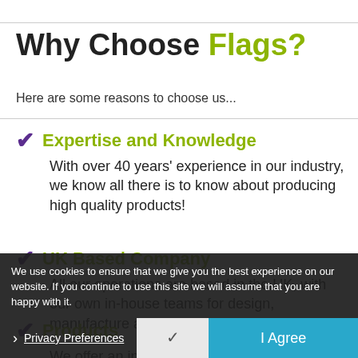Why Choose Flags?
Here are some reasons to choose us...
Expertise and Knowledge
With over 40 years' experience in our industry, we know all there is to know about producing high quality products!
UK Based Company
All our operations are based in the UK, with our own in-house teams for design, manufacture and installation.
Products
We offer an incredible range of products to help market your business!
We use cookies to ensure that we give you the best experience on our website. If you continue to use this site we will assume that you are happy with it.